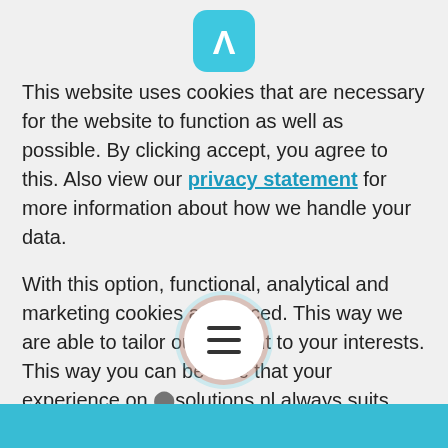[Figure (logo): App icon with white lambda/A symbol on teal/cyan rounded square background]
This website uses cookies that are necessary for the website to function as well as possible. By clicking accept, you agree to this. Also view our privacy statement for more information about how we handle your data.
With this option, functional, analytical and marketing cookies are placed. This way we are able to tailor our content to your interests. This way you can be sure that your experience on [solutions].nl always suits you perfectly.
[Figure (other): Hamburger menu icon in white circle with salmon/teal gradient ring overlay]
[Figure (other): Teal/cyan button bar at the bottom of the page (partially visible)]